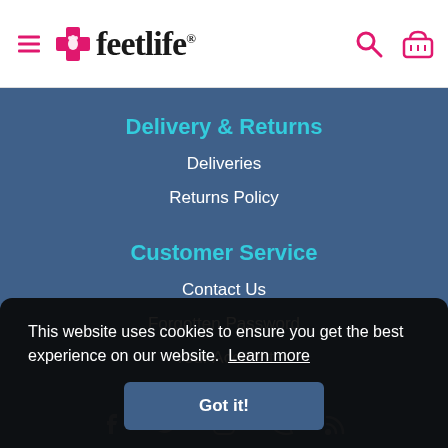feetlife
Delivery & Returns
Deliveries
Returns Policy
Customer Service
Contact Us
Forgotten Password
Your Account
Customer Reviews
This website uses cookies to ensure you get the best experience on our website. Learn more
Got it!